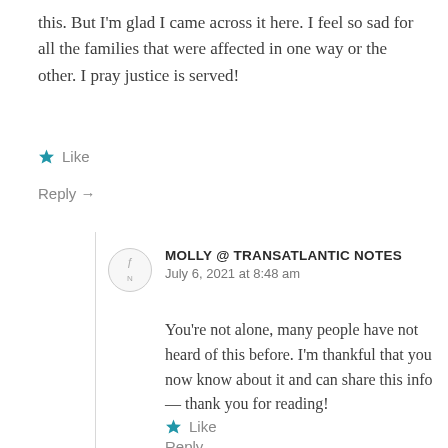this. But I'm glad I came across it here. I feel so sad for all the families that were affected in one way or the other. I pray justice is served!
Like
Reply →
MOLLY @ TRANSATLANTIC NOTES
July 6, 2021 at 8:48 am
You're not alone, many people have not heard of this before. I'm thankful that you now know about it and can share this info — thank you for reading!
Like
Reply